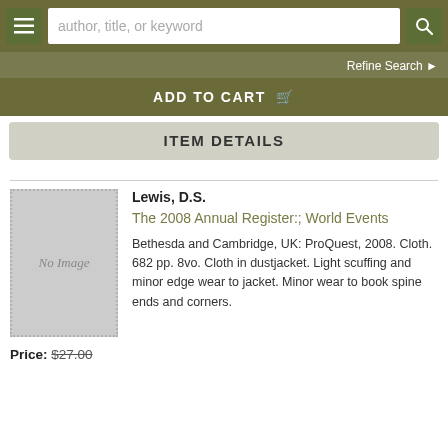author, title, or keyword | Refine Search
ADD TO CART
ITEM DETAILS
[Figure (illustration): No Image placeholder — grey rectangle with dotted border and italic 'No Image' text]
Lewis, D.S.
The 2008 Annual Register:; World Events
Bethesda and Cambridge, UK: ProQuest, 2008. Cloth. 682 pp. 8vo. Cloth in dustjacket. Light scuffing and minor edge wear to jacket. Minor wear to book spine ends and corners.
Price: $27.00